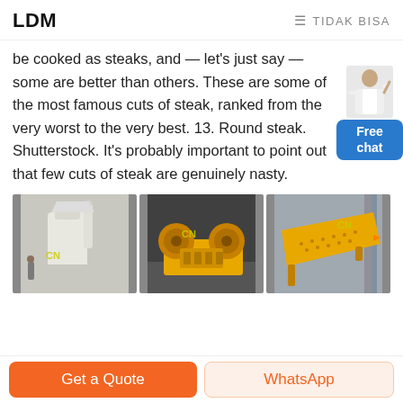LDM  ≡ TIDAK BISA
be cooked as steaks, and — let's just say — some are better than others. These are some of the most famous cuts of steak, ranked from the very worst to the very best. 13. Round steak. Shutterstock. It's probably important to point out that few cuts of steak are genuinely nasty.
[Figure (photo): Three industrial machine photos side by side: left shows a white powder grinding mill, center shows yellow crusher/roller equipment, right shows yellow vibrating screen equipment, all with CN watermarks.]
Get a Quote   WhatsApp